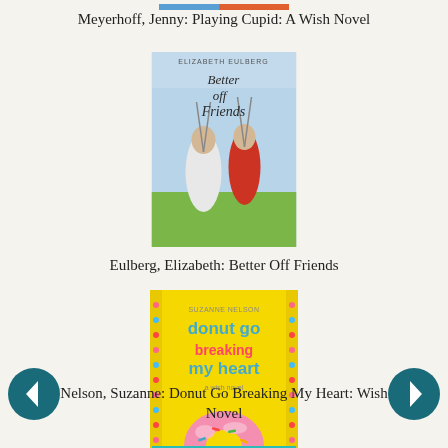[Figure (photo): Partial top of a book cover, cropped at top edge]
Meyerhoff, Jenny: Playing Cupid: A Wish Novel
[Figure (photo): Book cover: Better Off Friends by Elizabeth Eulberg. Two children on swings viewed from behind, one in white, one in red, with script title text.]
Eulberg, Elizabeth: Better Off Friends
[Figure (photo): Book cover: Donut Go Breaking My Heart by Suzanne Nelson. Yellow background with pink frosted donut and colorful text.]
Nelson, Suzanne: Donut Go Breaking My Heart: Wish Novel
[Figure (photo): Partial bottom book cover, teal/turquoise colored, cropped at bottom edge]
[Figure (other): Left navigation arrow button (dark teal circle with white arrow pointing left)]
[Figure (other): Right navigation arrow button (dark teal circle with white arrow pointing right)]